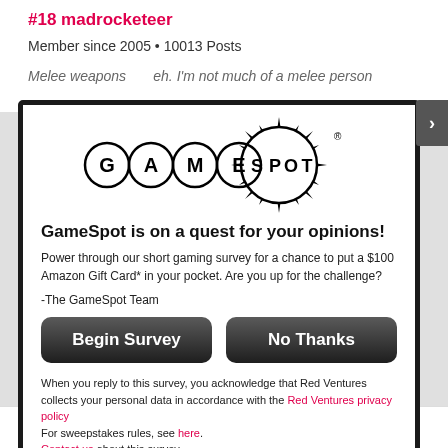#18 madrocketeer
Member since 2005 • 10013 Posts
Melee weapons        eh. I'm not much of a melee person
[Figure (logo): GameSpot logo with spiky burst graphic]
GameSpot is on a quest for your opinions!
Power through our short gaming survey for a chance to put a $100 Amazon Gift Card* in your pocket.  Are you up for the challenge?
-The GameSpot Team
Begin Survey
No Thanks
When you reply to this survey, you acknowledge that Red Ventures collects your personal data in accordance with the Red Ventures privacy policy
For sweepstakes rules, see here.
Contact us about this survey.
shotgun. Go up to the baddies' faces and give them a